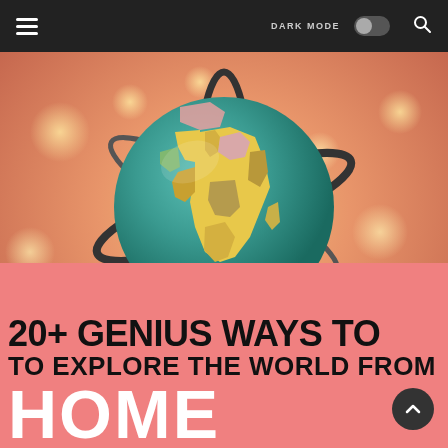DARK MODE [toggle] [search]
[Figure (photo): A colorful decorative globe on a gyroscope stand, photographed close-up with bokeh lights in the background. The globe shows Africa and Europe prominently with multi-colored countries.]
20+ GENIUS WAYS TO TO EXPLORE THE WORLD FROM HOME